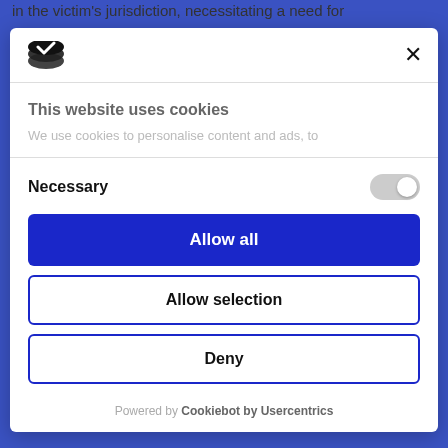in the victim's jurisdiction, necessitating a need for
[Figure (screenshot): Cookie consent modal dialog with Cookiebot logo, close button, cookie notice heading and description, Necessary toggle switch, Allow all button, Allow selection button, Deny button, and Cookiebot by Usercentrics footer]
This website uses cookies
We use cookies to personalise content and ads, to
Necessary
Allow all
Allow selection
Deny
Powered by Cookiebot by Usercentrics